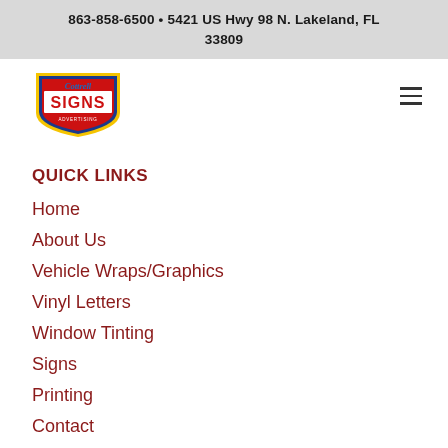863-858-6500 • 5421 US Hwy 98 N. Lakeland, FL 33809
[Figure (logo): Cottrell Signs & Advertising logo — red shield shape with yellow border, white text 'SIGNS' in bold red letters, cursive 'Cottrell' above in blue]
QUICK LINKS
Home
About Us
Vehicle Wraps/Graphics
Vinyl Letters
Window Tinting
Signs
Printing
Contact